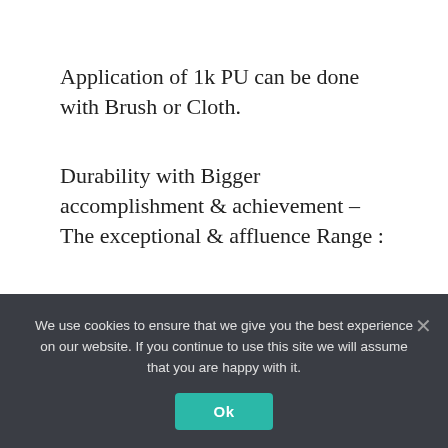Application of 1k PU can be done with Brush or Cloth.
Durability with Bigger accomplishment & achievement – The exceptional & affluence Range :
While you may be focused on aesthetics, professionals acclaim copse accomplishment to ensure the backbone of your furniture. It's
We use cookies to ensure that we give you the best experience on our website. If you continue to use this site we will assume that you are happy with it.